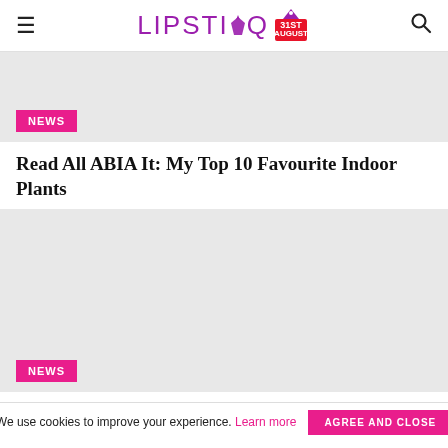LIPSTIQ
[Figure (photo): Gray placeholder image for first article with NEWS badge overlay]
Read All ABIA It: My Top 10 Favourite Indoor Plants
[Figure (photo): Gray placeholder image for second article with NEWS badge overlay]
We use cookies to improve your experience. Learn more AGREE AND CLOSE
PerSONIAlly Speaking: My Favourite Romance Tropes In Published Fiction & Fanfiction